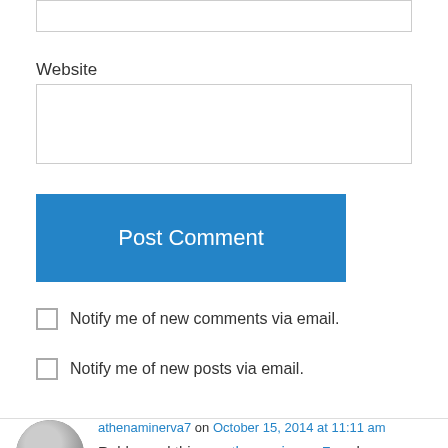[Figure (screenshot): Empty text input field at top of page]
Website
[Figure (screenshot): Website text input field]
[Figure (screenshot): Post Comment button (blue)]
Notify me of new comments via email.
Notify me of new posts via email.
athenaminerva7 on October 15, 2014 at 11:11 am
Reblogged this on athenaminerva7 and commented:
I have had the pale fire and I don't think it was